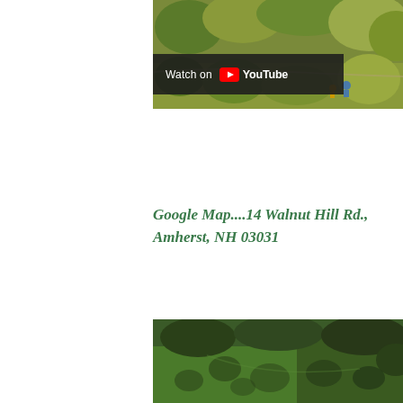[Figure (photo): Aerial/drone photo of a wooded landscape with trees and two people visible, with a YouTube 'Watch on YouTube' overlay button.]
Google Map....14 Walnut Hill Rd., Amherst, NH 03031
[Figure (photo): Aerial satellite/drone view of green fields and wooded land, shot from above.]